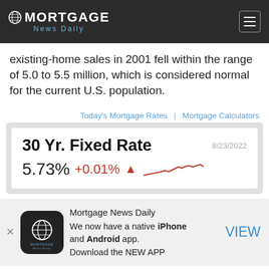MORTGAGE News Daily
existing-home sales in 2001 fell within the range of 5.0 to 5.5 million, which is considered normal for the current U.S. population.
Today's Mortgage Rates | Mortgage Calculators
[Figure (infographic): 30 Yr. Fixed Rate widget showing 5.73% +0.01% with upward arrow and sparkline trend chart, dated 8/23/2022]
[Figure (infographic): Mortgage News Daily app banner with globe logo icon, text about iPhone and Android app, VIEW button]